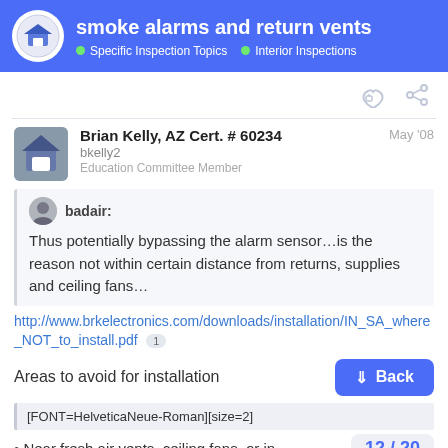smoke alarms and return vents — Specific Inspection Topics · Interior Inspections
Brian Kelly, AZ Cert. # 60234 bkelly2 Education Committee Member — May '08
badair:
Thus potentially bypassing the alarm sensor…is the reason not within certain distance from returns, supplies and ceiling fans…
http://www.brkelectronics.com/downloads/installation/IN_SA_where_NOT_to_install.pdf
Areas to avoid for installation
[FONT=HelveticaNeue-Roman][size=2]
• Near fresh air vents, ceiling fans, or in
12 / 20